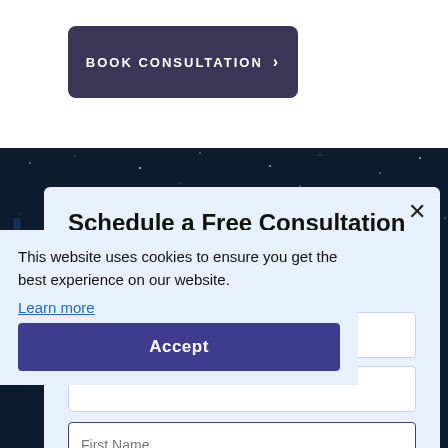[Figure (screenshot): Book Consultation button with dark purple/navy background and white text with arrow chevron]
[Figure (screenshot): Dark starry night sky background section with partially visible large text]
This website uses cookies to ensure you get the best experience on our website.
Learn more
Schedule a Free Consultation
Complete the Form Below
ENGLISH
ESPAÑOL
First Name
Accept
Last Name
loss goals can have significant, positive effects on